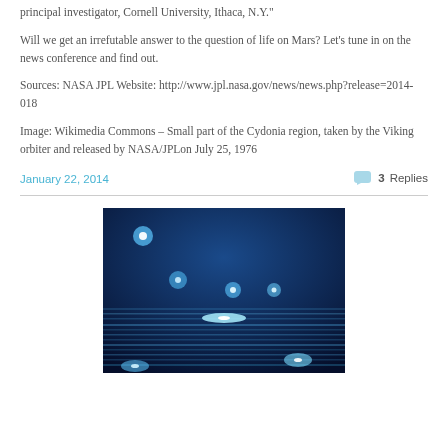principal investigator, Cornell University, Ithaca, N.Y."
Will we get an irrefutable answer to the question of life on Mars? Let's tune in on the news conference and find out.
Sources: NASA JPL Website: http://www.jpl.nasa.gov/news/news.php?release=2014-018
Image: Wikimedia Commons – Small part of the Cydonia region, taken by the Viking orbiter and released by NASA/JPLon July 25, 1976
January 22, 2014
3 Replies
[Figure (photo): Blue glowing lights/stars on dark blue background with horizontal light streaks at the bottom, resembling a space or sci-fi scene.]